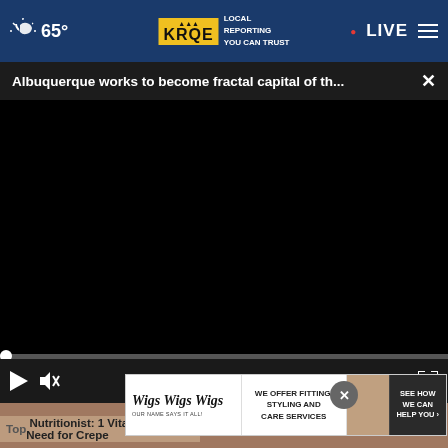65° KRQE LOCAL REPORTING YOU CAN TRUST • LIVE
Albuquerque works to become fractal capital of th...
[Figure (screenshot): Black video player area with progress bar at bottom showing 00:00 timestamp, play button, mute button, and fullscreen button on dark controls bar]
[Figure (screenshot): Wigs Wigs Wigs advertisement overlay: 'WE OFFER FITTING, STYLING AND CARE SERVICES' with 'SEE HOW WE CAN HELP YOU' CTA button and photo of women with wigs]
Top Nutritionist: 1 Vitamin You Need for Crepe